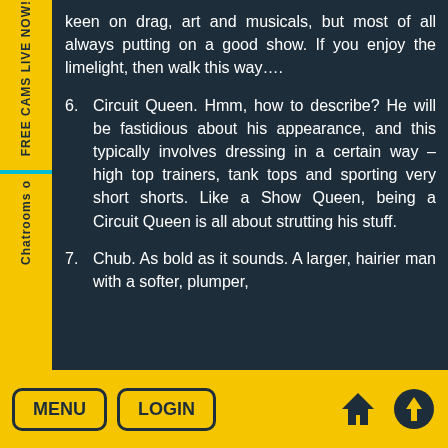keen on drag, art and musicals, but most of all always putting on a good show. If you enjoy the limelight, then walk this way….
6. Circuit Queen. Hmm, how to describe? He will be fastidious about his appearance, and this typically involves dressing in a certain way – high top trainers, tank tops and sporting very short shorts. Like a Show Queen, being a Circuit Queen is all about strutting his stuff.
7. Chub. As bold as it sounds. A larger, hairier man with a softer, plumper,
MENU  LOGIN